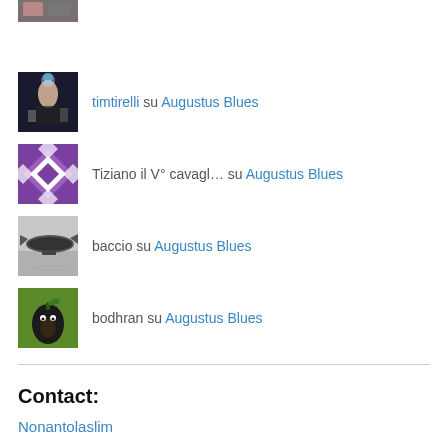[Figure (photo): Partially visible avatar image at top - concert/musician photo]
timtirelli su Augustus Blues
Tiziano il V° cavagl… su Augustus Blues
baccio su Augustus Blues
bodhran su Augustus Blues
Contact:
Nonantolaslim
Visitatori